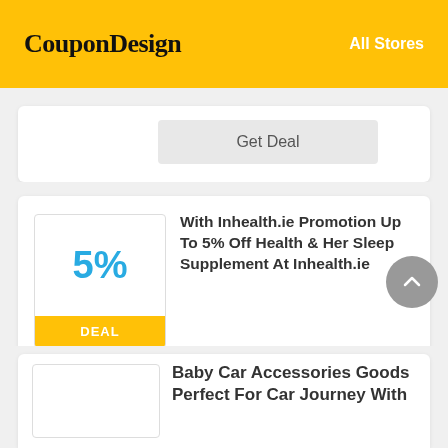CouponDesign   All Stores
Get Deal
With Inhealth.ie Promotion Up To 5% Off Health & Her Sleep Supplement At Inhealth.ie
5% DEAL
Expired 20-7-22
Get Deal
Baby Car Accessories Goods Perfect For Car Journey With